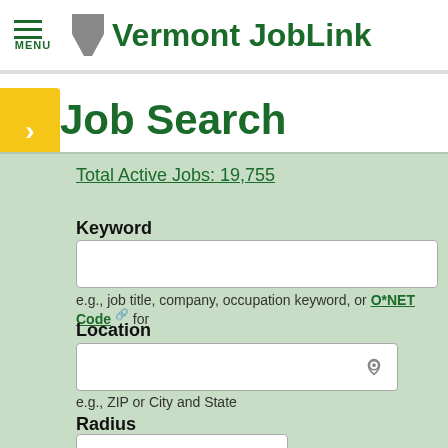Vermont JobLink
Job Search
Total Active Jobs: 19,755
Keyword
e.g., job title, company, occupation keyword, or O*NET Code for
Location
e.g., ZIP or City and State
Radius